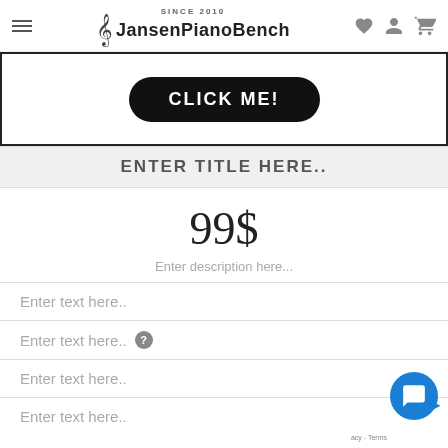SINCE 2010 JansenPianoBench
[Figure (screenshot): Black rounded button with white text CLICK ME! inside a bordered box]
ENTER TITLE HERE..
99$
Enter description here...
Enter text here..
Enter text here..
Enter text here..
Enter text here..